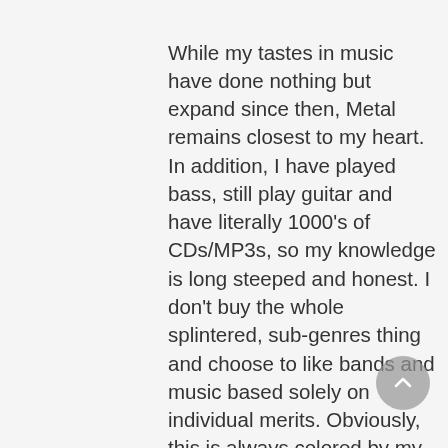While my tastes in music have done nothing but expand since then, Metal remains closest to my heart. In addition, I have played bass, still play guitar and have literally 1000's of CDs/MP3s, so my knowledge is long steeped and honest. I don't buy the whole splintered, sub-genres thing and choose to like bands and music based solely on individual merits. Obviously, this is always colored by my mood, what I need at any given point and time and what is generally pleasing to my ear. I also don't like to rip any music or band, instead having an open mind and ear for it all because I have a passion for it all. It is completely subjective and in a constant state of flux. Consider me a music "nerd" not a music "snob". As an extension of this love, I hope to share this passion with everyone here and